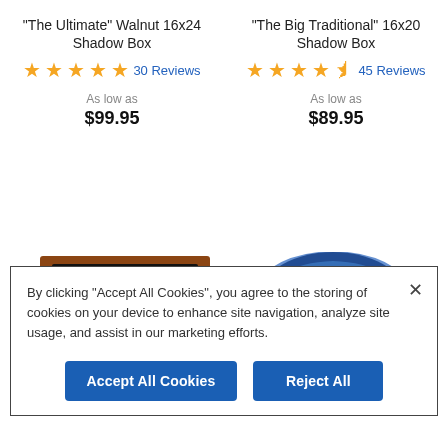"The Ultimate" Walnut 16x24 Shadow Box
30 Reviews — ★★★★★
As low as $99.95
"The Big Traditional" 16x20 Shadow Box
45 Reviews — ★★★★½
As low as $89.95
[Figure (photo): Walnut shadow box frame with dark interior, seen from front angle]
[Figure (photo): Curved dark blue/black cylindrical object, possibly a rolled frame or tube]
By clicking "Accept All Cookies", you agree to the storing of cookies on your device to enhance site navigation, analyze site usage, and assist in our marketing efforts.
Accept All Cookies
Reject All